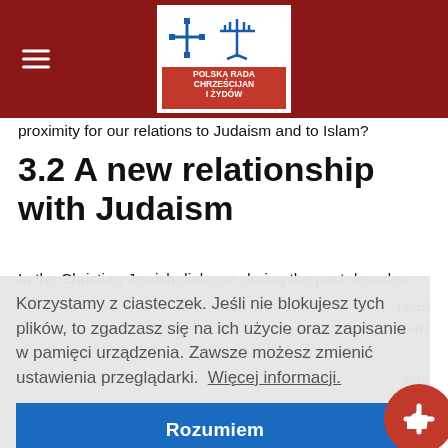Polska Rada Chrześcijan i Żydów (logo header)
proximity for our relations to Judaism and to Islam?
3.2 A new relationship with Judaism
In the Christian-Jewish dialogue during the past decades we
Korzystamy z ciasteczek. Jeśli nie blokujesz tych plików, to zgadzasz się na ich użycie oraz zapisanie w pamięci urządzenia. Zawsze możesz zmienić ustawienia przeglądarki.  Więcej informacji.
Rozumiem
of the undying covenant at Sinai. If God whom Christians